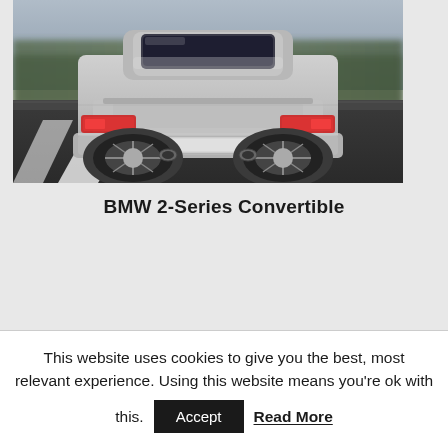[Figure (photo): Rear view of a silver BMW 2-Series Convertible driving on a road, viewed from behind and slightly above, showing the rear bumper, exhaust pipes, and taillights. The road has white lane markings and trees are blurred in the background.]
BMW 2-Series Convertible
This website uses cookies to give you the best, most relevant experience. Using this website means you're ok with this.
Accept
Read More